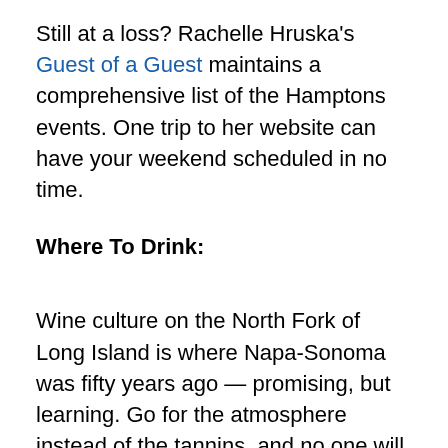Still at a loss? Rachelle Hruska's Guest of a Guest maintains a comprehensive list of the Hamptons events. One trip to her website can have your weekend scheduled in no time.
Where To Drink:
Wine culture on the North Fork of Long Island is where Napa-Sonoma was fifty years ago — promising, but learning. Go for the atmosphere instead of the tannins, and no one will be disappointed.
The Provence-style Croteaux is a must visit for rosé lovers (a.k.a. everyone), but better wines are found at Martha Clara Vineyards. Their 2010